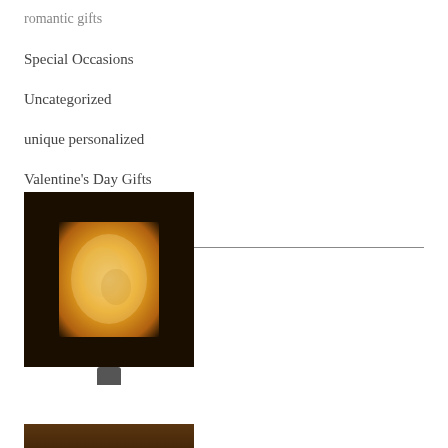romantic gifts
Special Occasions
Uncategorized
unique personalized
Valentine's Day Gifts
wall art
[Figure (photo): A framed night light with a glowing photo image inside a dark square frame, with an electrical plug at the bottom. The image inside shows a warm golden-lit photograph (appears to be a baby or infant).]
[Figure (photo): Partial view of a second night light with a dark frame and warm orange-brown toned frame border, cropped at the bottom of the page.]